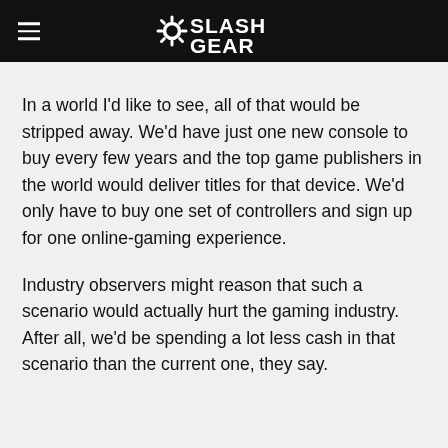SlashGear
In a world I'd like to see, all of that would be stripped away. We'd have just one new console to buy every few years and the top game publishers in the world would deliver titles for that device. We'd only have to buy one set of controllers and sign up for one online-gaming experience.
Industry observers might reason that such a scenario would actually hurt the gaming industry. After all, we'd be spending a lot less cash in that scenario than the current one, they say.